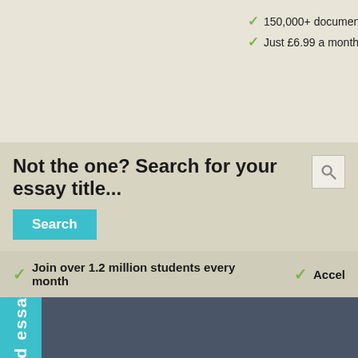150,000+ documents available
Just £6.99 a month
Not the one? Search for your essay title...
Search
Join over 1.2 million students every month
Accel
See related essa